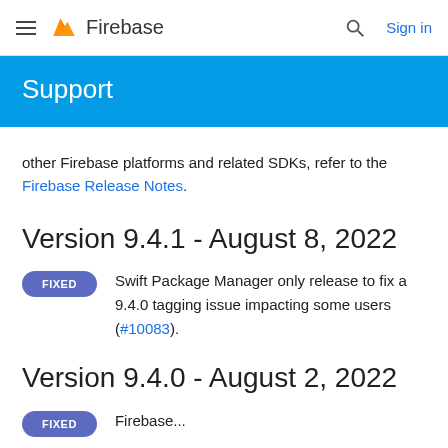Firebase
Support
other Firebase platforms and related SDKs, refer to the Firebase Release Notes.
Version 9.4.1 - August 8, 2022
FIXED Swift Package Manager only release to fix a 9.4.0 tagging issue impacting some users (#10083).
Version 9.4.0 - August 2, 2022
FIXED Firebase...